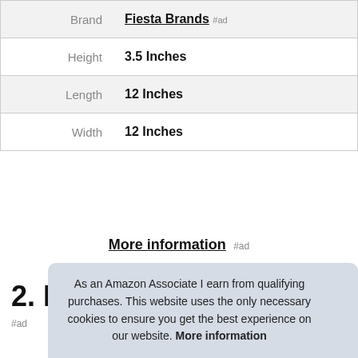|  |  |
| --- | --- |
| Brand | Fiesta Brands #ad |
| Height | 3.5 Inches |
| Length | 12 Inches |
| Width | 12 Inches |
More information #ad
2. ECONIA
#ad
As an Amazon Associate I earn from qualifying purchases. This website uses the only necessary cookies to ensure you get the best experience on our website. More information